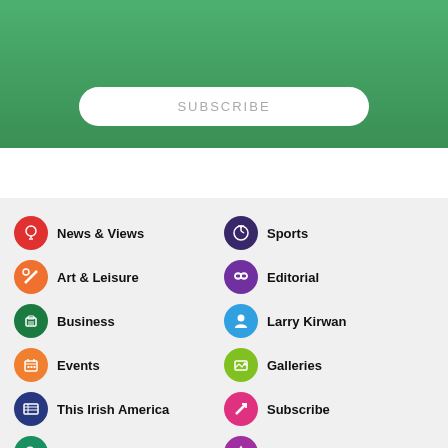[Figure (screenshot): Green gradient subscribe button section]
News & Views
Sports
Art & Leisure
Editorial
Business
Larry Kirwan
Events
Galleries
This Irish America
Subscribe
About
Advertise